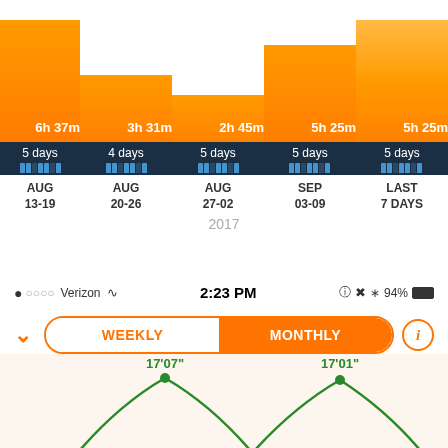[Figure (bar-chart): Weekly activity summary]
[Figure (screenshot): Mobile phone status bar showing Verizon carrier, WiFi, 2:23 PM time, lock icon, Bluetooth, 94% battery]
[Figure (infographic): App UI controls: chevron down arrow, WEEKLY/MONTHLY toggle buttons (MONTHLY selected in orange), info button]
[Figure (line-chart): Green line chart showing peaks labeled 17'07" and 17'01"]